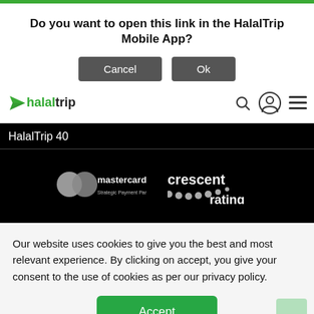Do you want to open this link in the HalalTrip Mobile App?
Cancel
Ok
[Figure (logo): HalalTrip logo with paper airplane icon, 'halal' in green and 'trip' in black]
HalalTrip 40
[Figure (logo): Mastercard logo with 'Strategic Payment Partner' text]
[Figure (logo): Crescent Rating logo]
[Figure (illustration): Social media icons row: Facebook, Twitter, Pinterest, YouTube, LinkedIn, Instagram, Snapchat]
Our website uses cookies to give you the best and most relevant experience. By clicking on accept, you give your consent to the use of cookies as per our privacy policy.
Accept